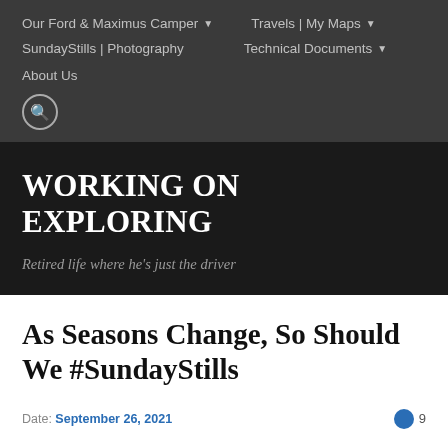Our Ford & Maximus Camper ▾   Travels | My Maps ▾
SundayStills | Photography   Technical Documents ▾
About Us
WORKING ON EXPLORING
Retired life where he's just the driver
As Seasons Change, So Should We #SundayStills
Date: September 26, 2021